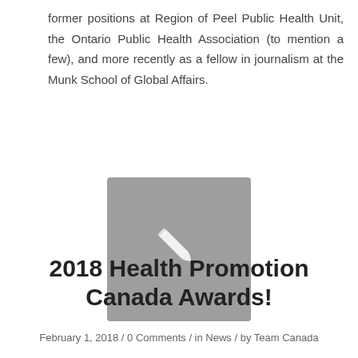former positions at Region of Peel Public Health Unit, the Ontario Public Health Association (to mention a few), and more recently as a fellow in journalism at the Munk School of Global Affairs.
[Figure (illustration): Gray square placeholder image with a white pencil/edit icon in the center]
2018 Health Promotion Canada Awards!
February 1, 2018 / 0 Comments / in News / by Team Canada